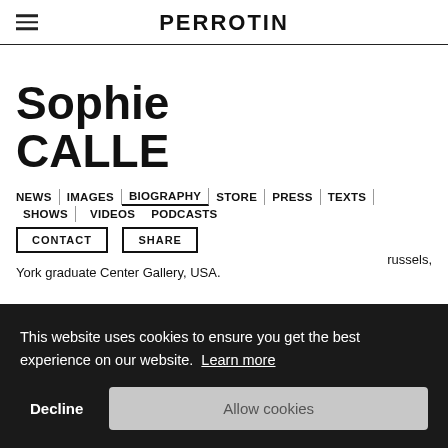PERROTIN
Sophie CALLE
NEWS | IMAGES | BIOGRAPHY | STORE | PRESS | TEXTS | SHOWS | VIDEOS PODCASTS
CONTACT
SHARE
York graduate Center Gallery, USA.
...russels,
...d'Enea
Malmo, Sweden.
This website uses cookies to ensure you get the best experience on our website. Learn more
Decline
Allow cookies